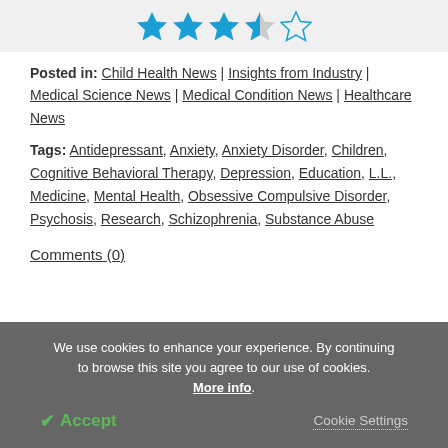[Figure (other): Star rating with 3 filled blue stars, 1 half star, and 1 empty star]
Posted in: Child Health News | Insights from Industry | Medical Science News | Medical Condition News | Healthcare News
Tags: Antidepressant, Anxiety, Anxiety Disorder, Children, Cognitive Behavioral Therapy, Depression, Education, L.L., Medicine, Mental Health, Obsessive Compulsive Disorder, Psychosis, Research, Schizophrenia, Substance Abuse
Comments (0)
We use cookies to enhance your experience. By continuing to browse this site you agree to our use of cookies. More info.
✔ Accept
Cookie Settings